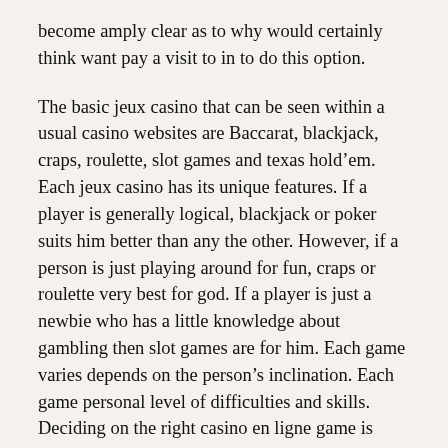become amply clear as to why would certainly think want pay a visit to in to do this option.
The basic jeux casino that can be seen within a usual casino websites are Baccarat, blackjack, craps, roulette, slot games and texas hold’em. Each jeux casino has its unique features. If a player is generally logical, blackjack or poker suits him better than any the other. However, if a person is just playing around for fun, craps or roulette very best for god. If a player is just a newbie who has a little knowledge about gambling then slot games are for him. Each game varies depends on the person’s inclination. Each game personal level of difficulties and skills. Deciding on the right casino en ligne game is certainly doing a trial and error method. Can doesn’t work, then go shopping for another game to try and check this will work, if not, let’s